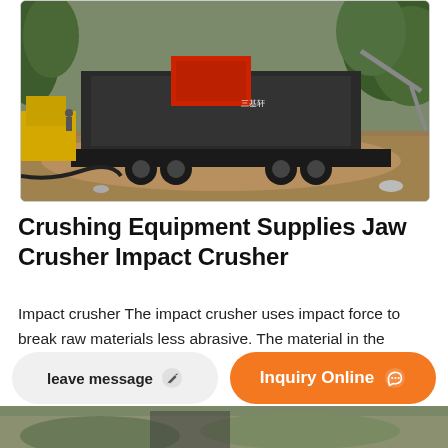[Figure (photo): Mobile jaw/impact crusher equipment on a construction or quarry site, mounted on a truck trailer, with trees in background and dirt ground]
Crushing Equipment Supplies Jaw Crusher Impact Crusher
Impact crusher The impact crusher uses impact force to break raw materials less abrasive. The material in the chamber is repeatedly impacted and broken between the rotor and the counterattack plate. It is a commonly secondary or tertiary crushing equipment, used for medium or fine crushing. Cone crusher
[Figure (photo): Partial view of another construction/quarry site photo at the bottom of the page]